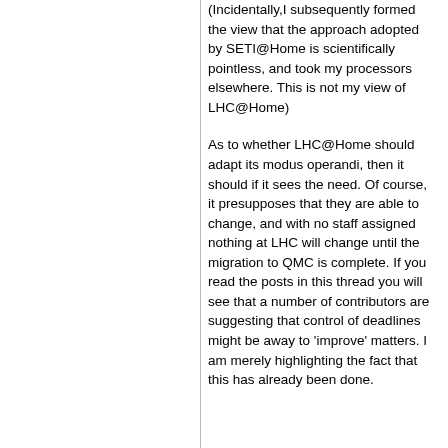(Incidentally,I subsequently formed the view that the approach adopted by SETI@Home is scientifically pointless, and took my processors elsewhere. This is not my view of LHC@Home)
As to whether LHC@Home should adapt its modus operandi, then it should if it sees the need. Of course, it presupposes that they are able to change, and with no staff assigned nothing at LHC will change until the migration to QMC is complete. If you read the posts in this thread you will see that a number of contributors are suggesting that control of deadlines might be away to 'improve' matters. I am merely highlighting the fact that this has already been done.